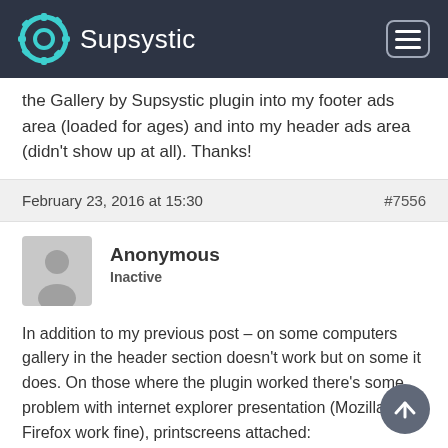Supsystic
the Gallery by Supsystic plugin into my footer ads area (loaded for ages) and into my header ads area (didn't show up at all). Thanks!
February 23, 2016 at 15:30   #7556
Anonymous
Inactive
In addition to my previous post – on some computers gallery in the header section doesn't work but on some it does. On those where the plugin worked there's some problem with internet explorer presentation (Mozilla and Firefox work fine), printscreens attached:

http://imageshack.com/a/img921/4149/5m1gXZ.jp
http://imageshack.com/a/img924/9521/omLVTj.jpg